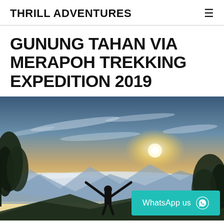THRILL ADVENTURES
GUNUNG TAHAN VIA MERAPOH TREKKING EXPEDITION 2019
[Figure (photo): A person standing with arms raised wide on a mountain summit, silhouetted against a dramatic sunrise sky with clouds below the peaks. Trees frame both sides of the image.]
WhatsApp us